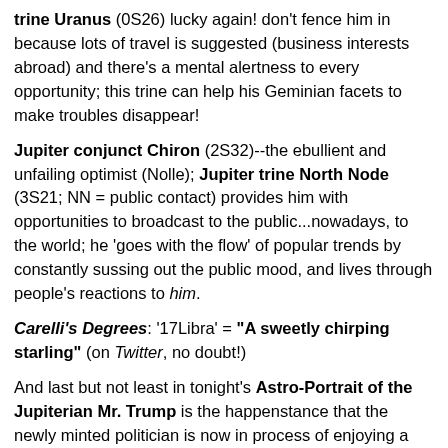trine Uranus (0S26) lucky again! don't fence him in because lots of travel is suggested (business interests abroad) and there's a mental alertness to every opportunity; this trine can help his Geminian facets to make troubles disappear!
Jupiter conjunct Chiron (2S32)--the ebullient and unfailing optimist (Nolle); Jupiter trine North Node (3S21; NN = public contact) provides him with opportunities to broadcast to the public...nowadays, to the world; he 'goes with the flow' of popular trends by constantly sussing out the public mood, and lives through people's reactions to him.
Carelli's Degrees: '17Libra' = "A sweetly chirping starling" (on Twitter, no doubt!)
And last but not least in tonight's Astro-Portrait of the Jupiterian Mr. Trump is the happenstance that the newly minted politician is now in process of enjoying a Jupiter Return (or, Reward Cycle, of about 11.6 years' duration) which is proving to be a three-fer affair this time around as transit Jupiter again reaches 17Lib27--in his natal 2nd house. Jupiter Return Dates: December 4, 2016; April 13, 2017 Rx; August 4, 2017 with a massive Jupiter Pluto